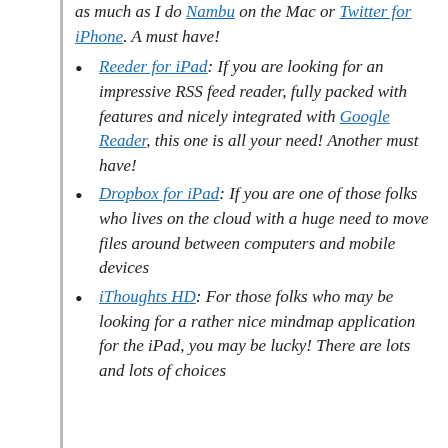as much as I do Nambu on the Mac or Twitter for iPhone. A must have!
Reeder for iPad: If you are looking for an impressive RSS feed reader, fully packed with features and nicely integrated with Google Reader, this one is all your need! Another must have!
Dropbox for iPad: If you are one of those folks who lives on the cloud with a huge need to move files around between computers and mobile devices
iThoughts HD: For those folks who may be looking for a rather nice mindmap application for the iPad, you may be lucky! There are lots and lots of choices out there. iThoughts HD is one of